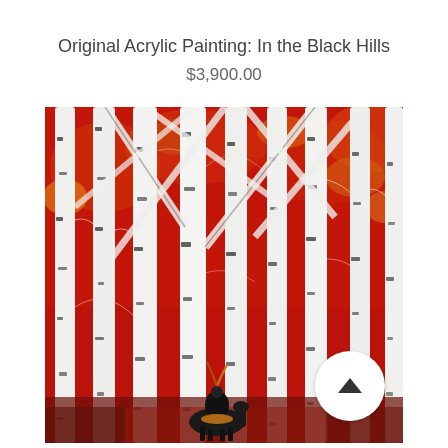Original Acrylic Painting: In the Black Hills
$3,900.00
[Figure (photo): Acrylic painting of birch trees with white and black bark against a vivid red background, with a figure and horse visible near the bottom center. A white circular scroll button with an upward arrow is overlaid at the bottom right of the image.]